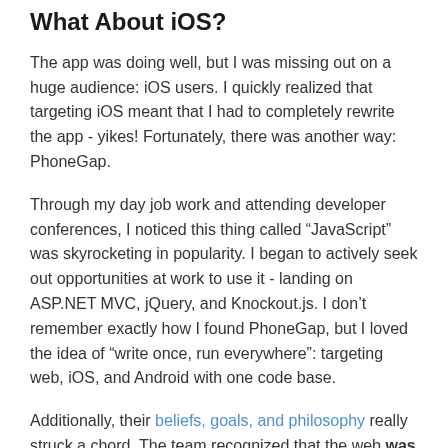What About iOS?
The app was doing well, but I was missing out on a huge audience: iOS users. I quickly realized that targeting iOS meant that I had to completely rewrite the app - yikes! Fortunately, there was another way: PhoneGap.
Through my day job work and attending developer conferences, I noticed this thing called “JavaScript” was skyrocketing in popularity. I began to actively seek out opportunities at work to use it - landing on ASP.NET MVC, jQuery, and Knockout.js. I don’t remember exactly how I found PhoneGap, but I loved the idea of “write once, run everywhere”: targeting web, iOS, and Android with one code base.
Additionally, their beliefs, goals, and philosophy really struck a chord. The team recognized that the web was not a first class development platform, but they fully believed it could